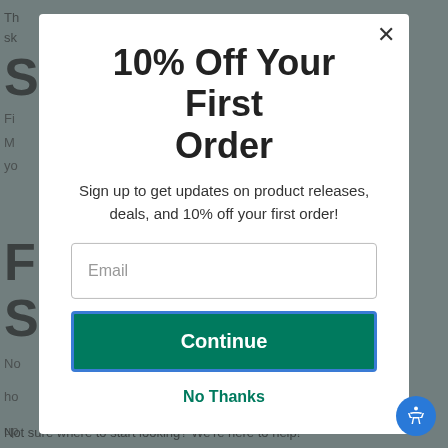[Figure (screenshot): Background webpage content partially visible behind a modal overlay, showing large section letters S, F, S and partial body text]
10% Off Your First Order
Sign up to get updates on product releases, deals, and 10% off your first order!
No Thanks